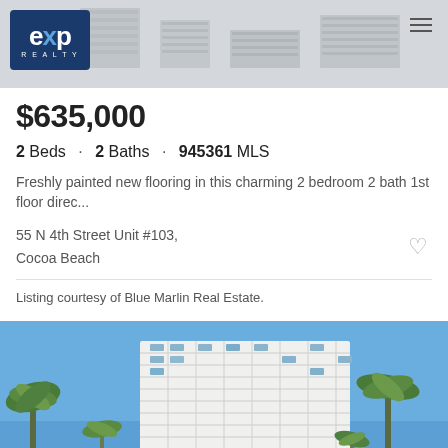[Figure (photo): eXp Realty logo on blue background with building silhouette in background, hamburger menu icon top right]
$635,000
2 Beds · 2 Baths · 945361 MLS
Freshly painted new flooring in this charming 2 bedroom 2 bath 1st floor direc...
55 N 4th Street Unit #103,
Cocoa Beach
Listing courtesy of Blue Marlin Real Estate.
[Figure (photo): Exterior photo of a tall white high-rise condominium building surrounded by palm trees under a bright blue sky, Cocoa Beach Florida]